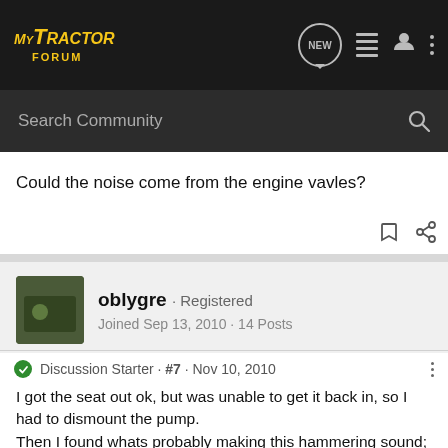MyTractor Forum — navigation bar with logo, NEW button, list icon, user icon, dots menu
Search Community
Could the noise come from the engine vavles?
[Figure (screenshot): Bookmark and share icons]
oblygre · Registered
Joined Sep 13, 2010 · 14 Posts
Discussion Starter · #7 · Nov 10, 2010
I got the seat out ok, but was unable to get it back in, so I had to dismount the pump.
Then I found whats probably making this hammering sound; the drive shaft is damaged, the rubber dampeners are gone and only one of the two bolts which goes into the motor, are there.